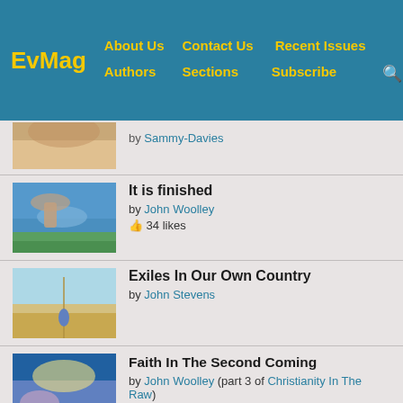Ev Mag | About Us | Contact Us | Recent Issues | Authors | Sections | Subscribe
[Figure (photo): Partial cropped image - by Sammy-Davies]
by Sammy-Davies
It is finished
by John Woolley
34 likes
Exiles In Our Own Country
by John Stevens
Faith In The Second Coming
by John Woolley (part 3 of Christianity In The Raw)
Conversion - a life changing encounter
by John Woolley (part 1 of Christianity In The Raw)